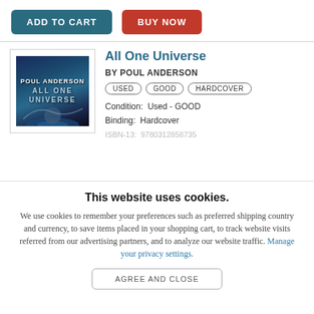ADD TO CART
BUY NOW
[Figure (illustration): Book cover for 'All One Universe' by Poul Anderson — dark blue/teal space scene with planet and swirling nebula]
All One Universe
BY POUL ANDERSON
USED   GOOD   HARDCOVER
Condition:  Used - GOOD
Binding:  Hardcover
ISBN-13:  9780312858735
This website uses cookies.
We use cookies to remember your preferences such as preferred shipping country and currency, to save items placed in your shopping cart, to track website visits referred from our advertising partners, and to analyze our website traffic. Manage your privacy settings.
AGREE AND CLOSE